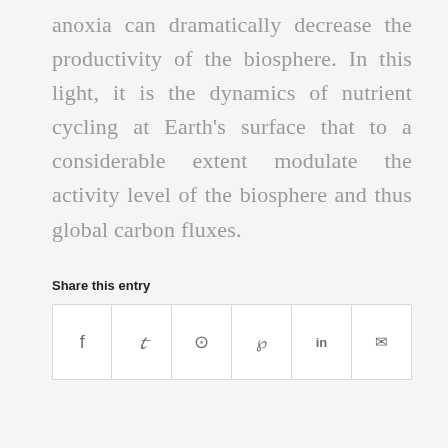anoxia can dramatically decrease the productivity of the biosphere. In this light, it is the dynamics of nutrient cycling at Earth's surface that to a considerable extent modulate the activity level of the biosphere and thus global carbon fluxes.
Share this entry
| f | 𝕿 | © | ℗ | in | ✉ |